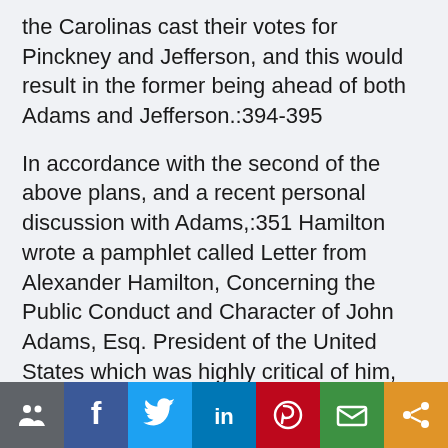the Carolinas cast their votes for Pinckney and Jefferson, and this would result in the former being ahead of both Adams and Jefferson.:394-395
In accordance with the second of the above plans, and a recent personal discussion with Adams,:351 Hamilton wrote a pamphlet called Letter from Alexander Hamilton, Concerning the Public Conduct and Character of John Adams, Esq. President of the United States which was highly critical of him, though it closed with lukewarm praise.:396 He mailed this to two hundred prominent Federalists; when a copy fell into
[Figure (infographic): Social sharing bar with 7 buttons: share (people icon), Facebook (f), Twitter (bird), LinkedIn (in), Pinterest (P), Email (envelope), Generic share (< icon). Colors: grey, dark blue, light blue, medium blue, red, green, orange.]